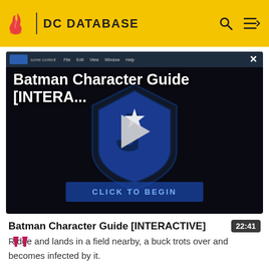DC DATABASE
[Figure (screenshot): Video thumbnail showing Batman Character Guide [INTERA...] with a DC/Justice League shield logo in center, a play button, and a 'CLICK TO BEGIN' button at the bottom. Has a dark background and a blue window title bar.]
Batman Character Guide [INTERACTIVE]
22:41
Ridge and lands in a field nearby, a buck trots over and becomes infected by it.
[Figure (illustration): Large pink/crimson quotation mark graphic at bottom left]